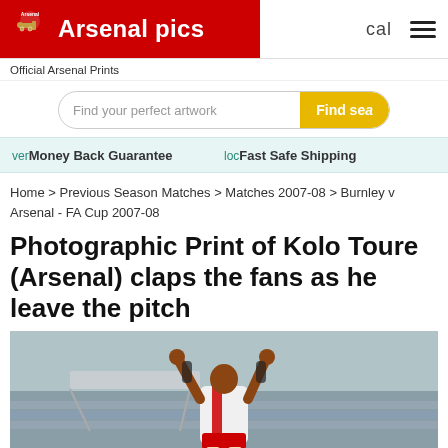Arsenal pics
Official Arsenal Prints
Find your perfect artwork — Find search
ver Money Back Guarantee   loc Fast Safe Shipping
Home > Previous Season Matches > Matches 2007-08 > Burnley v Arsenal - FA Cup 2007-08
Photographic Print of Kolo Toure (Arsenal) claps the fans as he leave the pitch
[Figure (photo): Photo of Kolo Toure (Arsenal player) clapping fans as he leaves the pitch, arms raised, wearing Arsenal white kit with red stripes, stadium in background]